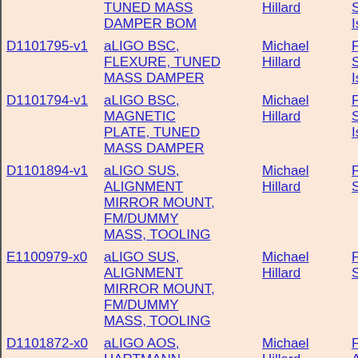| ID | Name | Owner | Category |
| --- | --- | --- | --- |
|  | TUNED MASS DAMPER BOM | Hillard | Sei Isol... |
| D1101795-v1 | aLIGO BSC, FLEXURE, TUNED MASS DAMPER | Michael Hillard | Fin Sei Isol... |
| D1101794-v1 | aLIGO BSC, MAGNETIC PLATE, TUNED MASS DAMPER | Michael Hillard | Fin Sei Isol... |
| D1101894-v1 | aLIGO SUS, ALIGNMENT MIRROR MOUNT, FM/DUMMY MASS, TOOLING | Michael Hillard | Fin Sus... |
| E1100979-x0 | aLIGO SUS, ALIGNMENT MIRROR MOUNT, FM/DUMMY MASS, TOOLING | Michael Hillard | Fin Sus... |
| D1101872-x0 | aLIGO AOS, HARTMANN CAVITY BEAM DUMP ASSY | Michael Hillard | Fin Aux Opt... |